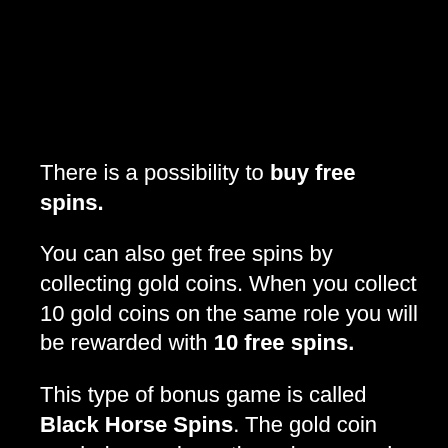There is a possibility to buy free spins.
You can also get free spins by collecting gold coins. When you collect 10 gold coins on the same role you will be rewarded with 10 free spins.
This type of bonus game is called Black Horse Spins. The gold coin symbols remain on the columns and will expand to the entire column.